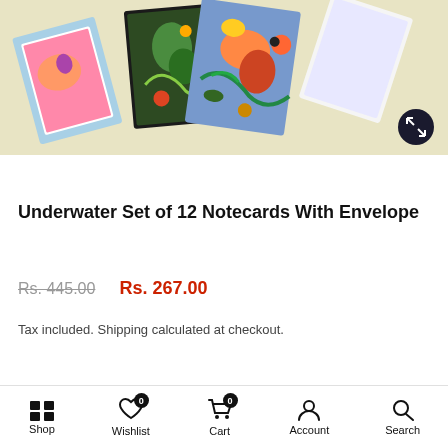[Figure (photo): Product photo showing a set of colorful illustrated notecards with underwater/nature themes fanned out on a light yellow background, with a dark expand icon button in the bottom right corner.]
Underwater Set of 12 Notecards With Envelope
Rs. 445.00  Rs. 267.00
Tax included. Shipping calculated at checkout.
Shop  Wishlist 0  Cart 0  Account  Search